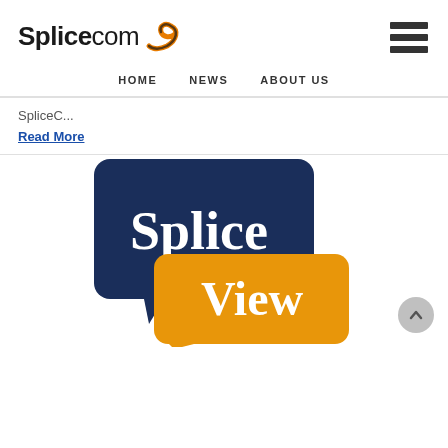SpliceCom logo and navigation
HOME  NEWS  ABOUT US
SpliceC...
Read More
[Figure (logo): SpliceView product logo — dark navy speech bubble with white text 'Splice' and an orange speech bubble with white text 'View']